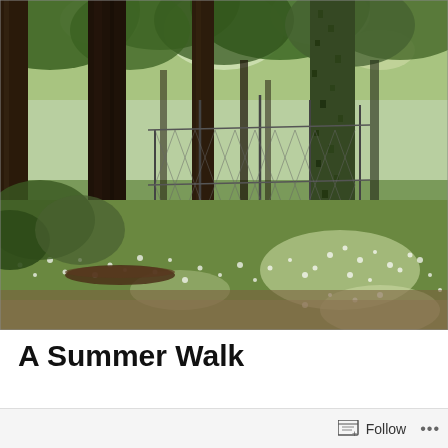[Figure (photo): A forest scene photographed in summer. Tall trees with dark trunks rise from a ground covered with green low-growing plants and white flowers. Chain-link fencing is visible between the trees. Light filters through the dense tree canopy above.]
A Summer Walk
Follow ...